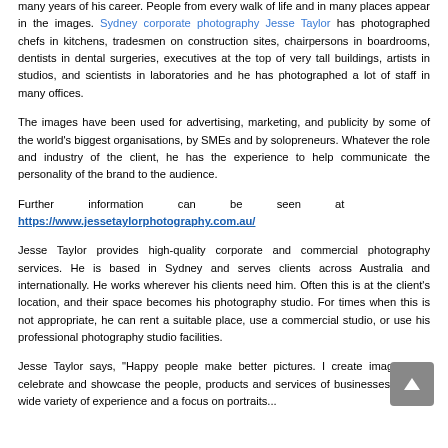many years of his career. People from every walk of life and in many places appear in the images. Sydney corporate photography Jesse Taylor has photographed chefs in kitchens, tradesmen on construction sites, chairpersons in boardrooms, dentists in dental surgeries, executives at the top of very tall buildings, artists in studios, and scientists in laboratories and he has photographed a lot of staff in many offices.
The images have been used for advertising, marketing, and publicity by some of the world's biggest organisations, by SMEs and by solopreneurs. Whatever the role and industry of the client, he has the experience to help communicate the personality of the brand to the audience.
Further information can be seen at https://www.jessetaylorphotography.com.au/
Jesse Taylor provides high-quality corporate and commercial photography services. He is based in Sydney and serves clients across Australia and internationally. He works wherever his clients need him. Often this is at the client's location, and their space becomes his photography studio. For times when this is not appropriate, he can rent a suitable place, use a commercial studio, or use his professional photography studio facilities.
Jesse Taylor says, "Happy people make better pictures. I create images that celebrate and showcase the people, products and services of businesses. With a wide variety of experience and a focus on portraits...